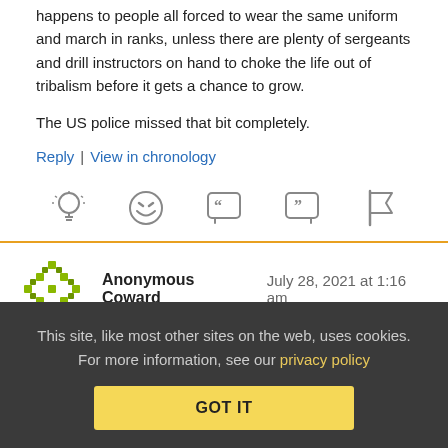happens to people all forced to wear the same uniform and march in ranks, unless there are plenty of sergeants and drill instructors on hand to choke the life out of tribalism before it gets a chance to grow.
The US police missed that bit completely.
Reply | View in chronology
[Figure (other): Row of action icons: lightbulb, laughing emoji, open-quote speech bubble, close-quote speech bubble, flag]
Anonymous Coward   July 28, 2021 at 1:16 am
This site, like most other sites on the web, uses cookies. For more information, see our privacy policy
GOT IT